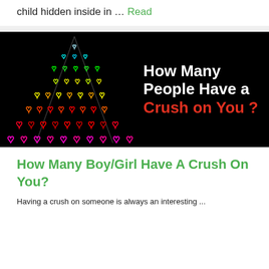child hidden inside in … Read
[Figure (illustration): Banner image with black background showing a triangular Christmas tree made of colorful neon heart shapes (rainbow colored from top to bottom: white/blue at top, green, yellow, orange, red, pink at bottom). Text overlay reads 'How Many People Have a Crush on You?' with 'Crush on You ?' in red.]
How Many Boy/Girl Have A Crush On You?
Having a crush on someone is always an interesting ...